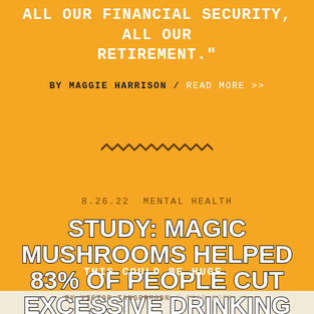ALL OUR FINANCIAL SECURITY, ALL OUR RETIREMENT."
BY MAGGIE HARRISON / READ MORE >>
[Figure (illustration): Decorative squiggle/wave divider line in dark color]
8.26.22 MENTAL HEALTH
STUDY: MAGIC MUSHROOMS HELPED 83% OF PEOPLE CUT EXCESSIVE DRINKING
THIS COULD BE HUGE.
BY VICTOR TANGERMANN / READ MORE >>